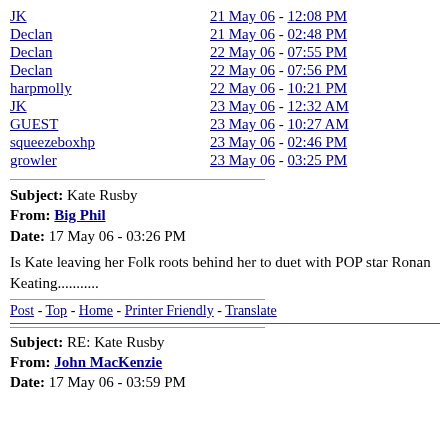JK — 21 May 06 - 12:08 PM
Declan — 21 May 06 - 02:48 PM
Declan — 22 May 06 - 07:55 PM
Declan — 22 May 06 - 07:56 PM
harpmolly — 22 May 06 - 10:21 PM
JK — 23 May 06 - 12:32 AM
GUEST — 23 May 06 - 10:27 AM
squeezeboxhp — 23 May 06 - 02:46 PM
growler — 23 May 06 - 03:25 PM
Subject: Kate Rusby
From: Big Phil
Date: 17 May 06 - 03:26 PM
Is Kate leaving her Folk roots behind her to duet with POP star Ronan Keating...........
Post - Top - Home - Printer Friendly - Translate
Subject: RE: Kate Rusby
From: John MacKenzie
Date: 17 May 06 - 03:59 PM